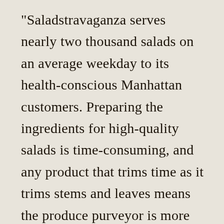"Saladstravaganza serves nearly two thousand salads on an average weekday to its health-conscious Manhattan customers. Preparing the ingredients for high-quality salads is time-consuming, and any product that trims time as it trims stems and leaves means the produce purveyor is more profitable. One of the most labor-intensive jobs at Saladstravaganza was coring fresh radishes. Until recently, it took one employee more